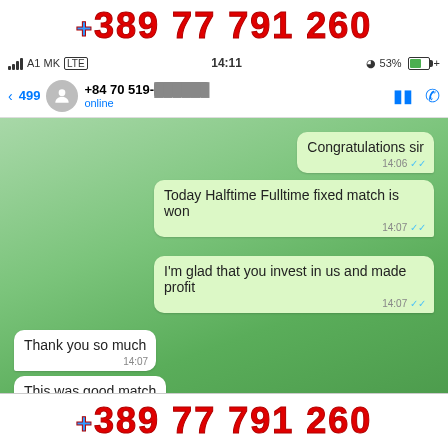[Figure (screenshot): WhatsApp chat screenshot with phone number +389 77 791 260 overlaid at top and bottom in red bold text. Chat shows messages between two parties about a fixed match win.]
+389 77 791 260
A1 MK  LTE   14:11   53%
< 499   +84 70 519-  online
Congratulations sir  14:06
Today Halftime Fulltime fixed match is won  14:07
I'm glad that you invest in us and made profit  14:07
Thank you so much  14:07
This was good match  14:07
Thank you too sir for your trust and collaboration with us  14:08
+389 77 791 260